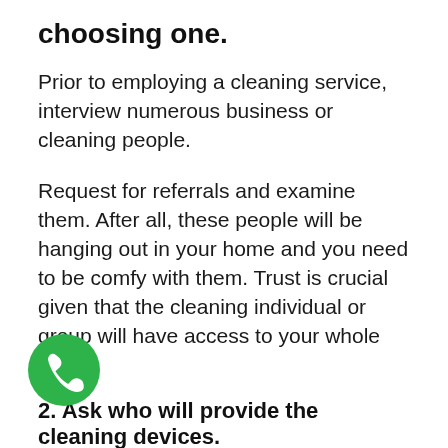choosing one.
Prior to employing a cleaning service, interview numerous business or cleaning people.
Request for referrals and examine them. After all, these people will be hanging out in your home and you need to be comfy with them. Trust is crucial given that the cleaning individual or group will have access to your whole house.
2. Ask who will provide the cleaning devices.
It entails for your home cleaning individual or team to get to your home geared up with all the
[Figure (illustration): Green circular phone/call button icon in bottom left area]